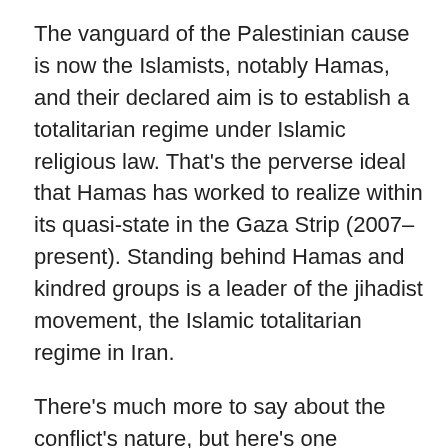The vanguard of the Palestinian cause is now the Islamists, notably Hamas, and their declared aim is to establish a totalitarian regime under Islamic religious law. That's the perverse ideal that Hamas has worked to realize within its quasi-state in the Gaza Strip (2007–present). Standing behind Hamas and kindred groups is a leader of the jihadist movement, the Islamic totalitarian regime in Iran.
There's much more to say about the conflict's nature, but here's one important takeaway. The conflict is best understood as a clash between a basically free society, Israel—and regimes and movements hostile to human life and freedom.
Why does this matter to us? Part of the answer I lay out in my book is that the Israeli-Palestinian conflict has become nested within the wider clash between free societies and